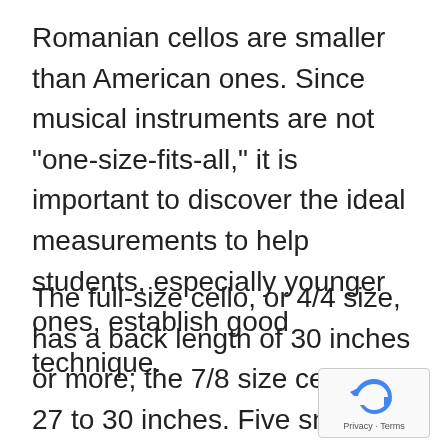Romanian cellos are smaller than American ones. Since musical instruments are not "one-size-fits-all," it is important to discover the ideal measurements to help students, especially younger ones, establish good technique.
The full-size cello, or 4/4 size, has a back length of 30 inches or more; the 7/8 size cello is 27 to 30 inches. Five smaller cellos range from 34 (26 to 27.25 inches) to 110. (17.75 to 20 inches). Cellists must consider their age, height, and arm measurements when p...